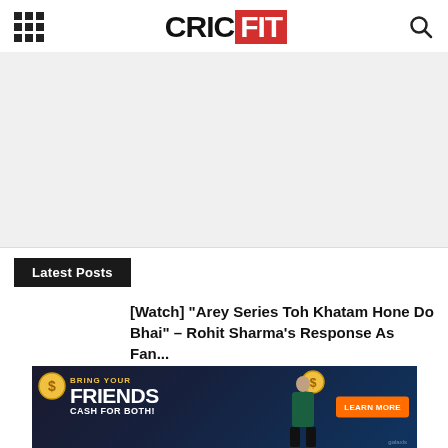CRICFIT
Latest Posts
[Watch] “Arey Series Toh Khatam Hone Do Bhai” – Rohit Sharma’s Response As Fan...
August 29, 2022
[Figure (infographic): Advertisement banner: Bring Your Friends Cash For Both! with coin graphics and a cricket player, Learn More button]